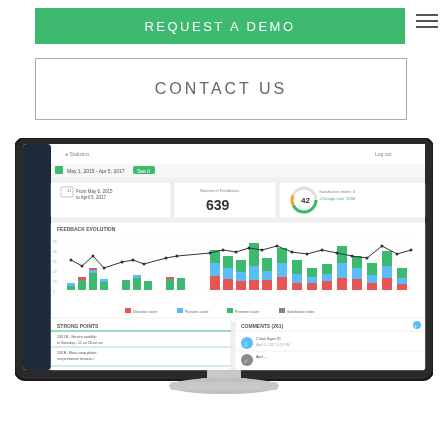REQUEST A DEMO
CONTACT US
[Figure (screenshot): iMac desktop monitor displaying a customer satisfaction dashboard with a stacked bar chart showing feedback evolution over time, KPI cards showing 639 total feedbacks and satisfaction index of 42, strong points section, and comments section.]